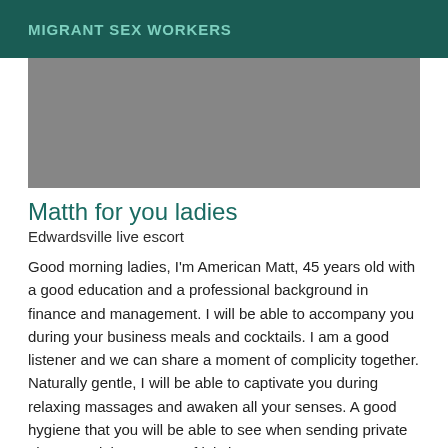MIGRANT SEX WORKERS
[Figure (photo): Gray image placeholder area]
Matth for you ladies
Edwardsville live escort
Good morning ladies, I'm American Matt, 45 years old with a good education and a professional background in finance and management. I will be able to accompany you during your business meals and cocktails. I am a good listener and we can share a moment of complicity together. Naturally gentle, I will be able to captivate you during relaxing massages and awaken all your senses. A good hygiene that you will be able to see when sending private photos and the respect of it is important to me. I am available from 10:00 am to 8:00 pm every day. Do not hesitate to contact me0 to make an appointment